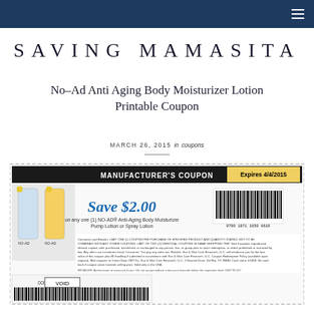SAVING MAMASITA — navigation bar with hamburger menu
SAVING MAMASITA
No–Ad Anti Aging Body Moisturizer Lotion Printable Coupon
MARCH 26, 2015 in coupons
[Figure (photo): Manufacturer's coupon for No-Ad Anti-Aging Body Moisturizer Pump Lotion or Spray Lotion. Save $2.00 on any one (1) product. Expires 4/4/2015. Barcode 0790 1871 1650 6610. Includes VOID watermark and fine print.]